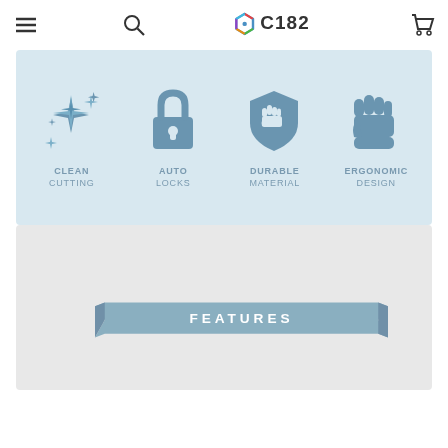C182 navigation header with menu, search, logo, and cart icons
[Figure (infographic): Four product feature icons on a light blue background: Clean Cutting (sparkles icon), Auto Locks (padlock icon), Durable Material (shield with fist icon), Ergonomic Design (raised fist icon), each with label text below]
[Figure (other): Grey/light panel below the features icons]
[Figure (infographic): FEATURES banner with blue-grey ribbon/banner shape and white bold text reading FEATURES]